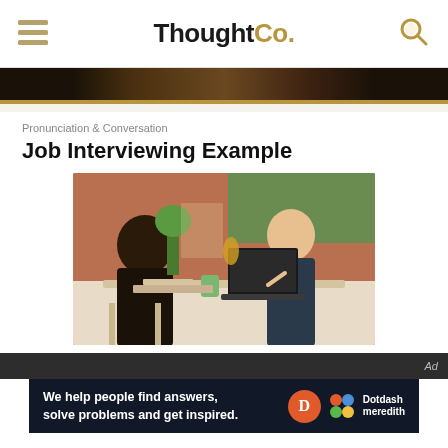ThoughtCo.
[Figure (photo): Top banner dark image strip]
Pronunciation & Conversation
Job Interviewing Example
[Figure (photo): Two people having a job interview across a table, one with a laptop, in a modern office space with brick walls]
Ad
[Figure (infographic): Dotdash Meredith banner: We help people find answers, solve problems and get inspired.]